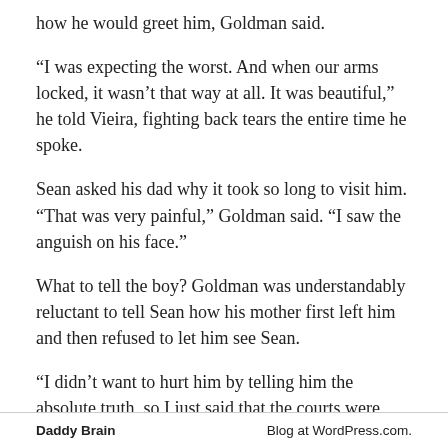how he would greet him, Goldman said.
“I was expecting the worst. And when our arms locked, it wasn’t that way at all. It was beautiful,” he told Vieira, fighting back tears the entire time he spoke.
Sean asked his dad why it took so long to visit him. “That was very painful,” Goldman said. “I saw the anguish on his face.”
What to tell the boy? Goldman was understandably reluctant to tell Sean how his mother first left him and then refused to let him see Sean.
“I didn’t want to hurt him by telling him the absolute truth, so I just said that the courts were making things very difficult,” Goldman said. “I said, ‘Sean, I’ve been here
Daddy Brain Blog at WordPress.com.